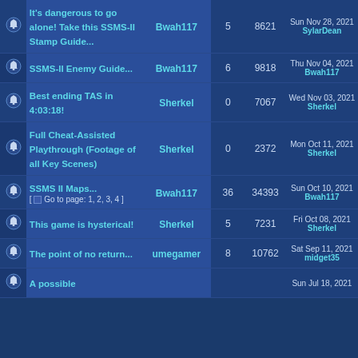|  | Topic | Author | Replies | Views | Last Post |
| --- | --- | --- | --- | --- | --- |
| [icon] | It's dangerous to go alone! Take this SSMS-II Stamp Guide... | Bwah117 | 5 | 8621 | Sun Nov 28, 2021 SylarDean |
| [icon] | SSMS-II Enemy Guide... | Bwah117 | 6 | 9818 | Thu Nov 04, 2021 Bwah117 |
| [icon] | Best ending TAS in 4:03:18! | Sherkel | 0 | 7067 | Wed Nov 03, 2021 Sherkel |
| [icon] | Full Cheat-Assisted Playthrough (Footage of all Key Scenes) | Sherkel | 0 | 2372 | Mon Oct 11, 2021 Sherkel |
| [icon] | SSMS II Maps... [ Go to page: 1, 2, 3, 4 ] | Bwah117 | 36 | 34393 | Sun Oct 10, 2021 Bwah117 |
| [icon] | This game is hysterical! | Sherkel | 5 | 7231 | Fri Oct 08, 2021 Sherkel |
| [icon] | The point of no return... | umegamer | 8 | 10762 | Sat Sep 11, 2021 midget35 |
| [icon] | A possible |  |  |  | Sun Jul 18, 2021 |